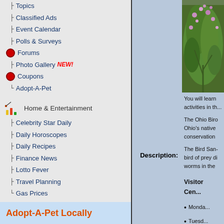|- Topics
|- Classified Ads
|- Event Calendar
|- Polls & Surveys
○ Forums
|- Photo Gallery NEW!
○ Coupons
L Adopt-A-Pet
Home & Entertainment
|- Celebrity Star Daily
|- Daily Horoscopes
|- Daily Recipes
|- Finance News
|- Lotto Fever
|- Travel Planning
L Gas Prices
Site Info
○ Submissions
○ Feedback
|- Advertise
○ Bandwidth Meter
L Legal Stuff
Adopt-A-Pet Locally
Description:
[Figure (photo): Photo of a plant with purple/pink flowers and green foliage]
You will learn activities in th...
The Ohio Biro Ohio's native conservation
The Bird Sand bird of prey di worms in the
Visitor Cen...
Monda...
Tuesd...
Sunda...
DAILY ADMIS...